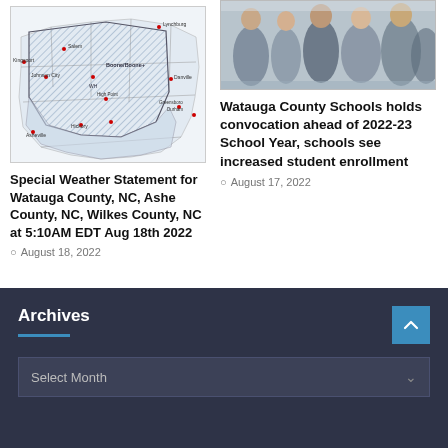[Figure (map): Map showing special weather statement area covering Watauga County, NC, Ashe County, NC, and Wilkes County, NC, with hatched/shaded regions indicating affected areas.]
Special Weather Statement for Watauga County, NC, Ashe County, NC, Wilkes County, NC at 5:10AM EDT Aug 18th 2022
August 18, 2022
[Figure (photo): Photo of people at a school convocation event, several individuals standing and conversing indoors.]
Watauga County Schools holds convocation ahead of 2022-23 School Year, schools see increased student enrollment
August 17, 2022
Archives
Select Month